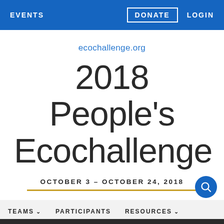EVENTS   DONATE   LOGIN
ecochallenge.org
2018 People's Ecochallenge
OCTOBER 3 – OCTOBER 24, 2018
TEAMS   PARTICIPANTS   RESOURCES